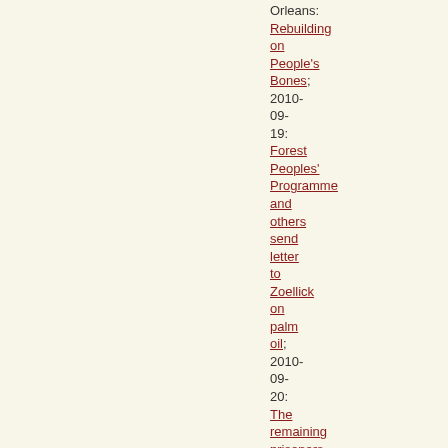Orleans: Rebuilding on People's Bones; 2010-09-19: Forest Peoples' Programme and others send letter to Zoellick on palm oil; 2010-09-20: The remaining prisoners in Guantánamo – 176